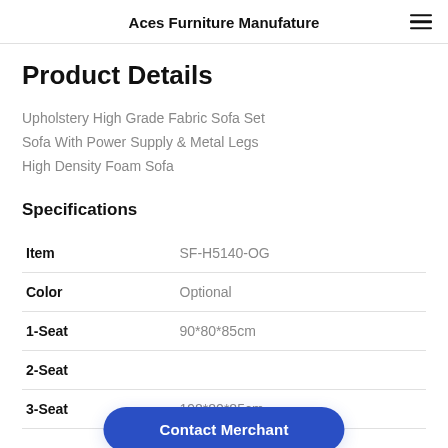Aces Furniture Manufature
Product Details
Upholstery High Grade Fabric Sofa Set
Sofa With Power Supply & Metal Legs
High Density Foam Sofa
Specifications
|  |  |
| --- | --- |
| Item | SF-H5140-OG |
| Color | Optional |
| 1-Seat | 90*80*85cm |
| 2-Seat |  |
| 3-Seat | 198*80*85cm |